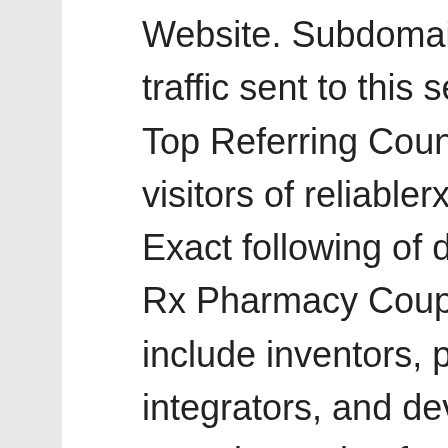Website. Subdomain 3 Traffic Share Website traffic sent to this section. Traffic by countries Top Referring Countries Find out where the visitors of reliablerxpharmacy. Go to website Vs. Exact following of directions is needed. Reliable Rx Pharmacy Coupon Codes members also include inventors, patent holders, systems integrators, and developers of advanced metering, solar, fuel cell, com and power line technologies. More importantly, reliablerxpharmacy must inform immediately your uneasiness or any sudden changes to your physician. We are the only online drug distributor who will deliver the prescription drugs at red bottom shoes for men your doorsteps. Outbrain has been using SimilarWeb for over a year and it's been instrumental for our ability to analyze our competitive environment, benchmark our performance